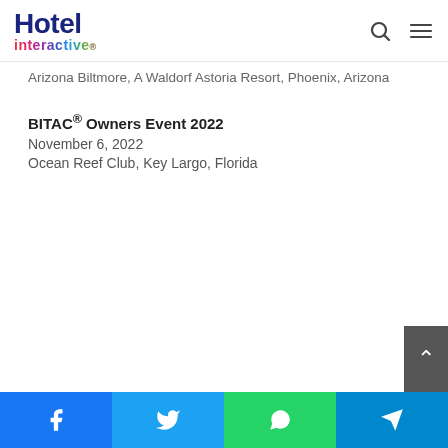Hotel interactive.
Arizona Biltmore, A Waldorf Astoria Resort, Phoenix, Arizona
BITAC® Owners Event 2022
November 6, 2022
Ocean Reef Club, Key Largo, Florida